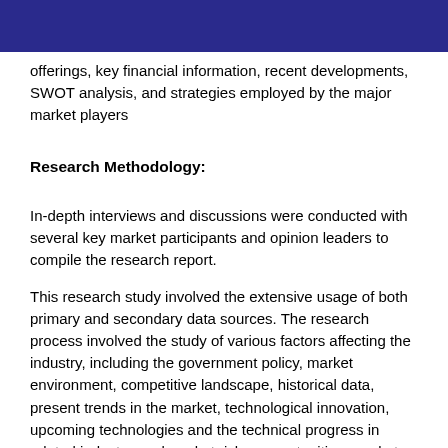offerings, key financial information, recent developments, SWOT analysis, and strategies employed by the major market players
Research Methodology:
In-depth interviews and discussions were conducted with several key market participants and opinion leaders to compile the research report.
This research study involved the extensive usage of both primary and secondary data sources. The research process involved the study of various factors affecting the industry, including the government policy, market environment, competitive landscape, historical data, present trends in the market, technological innovation, upcoming technologies and the technical progress in related industry, and market risks, opportunities, market barriers and challenges. The following illustrative figure